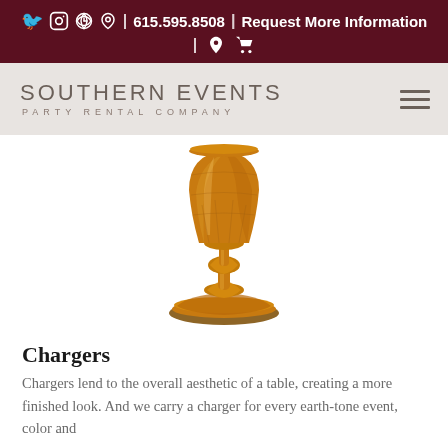f ⊙ ⊗ | 615.595.8508 | Request More Information | ⊙ 🛒
[Figure (logo): Southern Events Party Rental Company logo with hamburger menu icon on grey navigation bar]
[Figure (photo): Amber/honey-colored glass goblet with textured faceted bowl and ornate stem on white background]
Chargers
Chargers lend to the overall aesthetic of a table, creating a more finished look. And we carry a charger for every earth-tone event, color and